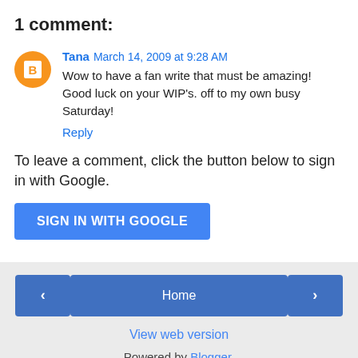1 comment:
Tana  March 14, 2009 at 9:28 AM
Wow to have a fan write that must be amazing! Good luck on your WIP's. off to my own busy Saturday!
Reply
To leave a comment, click the button below to sign in with Google.
SIGN IN WITH GOOGLE
‹  Home  ›
View web version
Powered by Blogger.